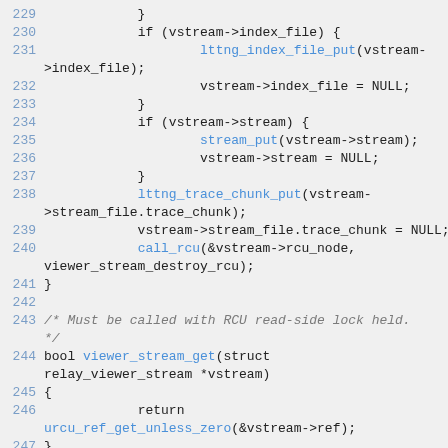[Figure (screenshot): Source code listing in C showing lines 229-247 of a file, with syntax highlighting. Blue line numbers, blue function names, dark/black keywords and regular code, grey italic comments. Background is light grey.]